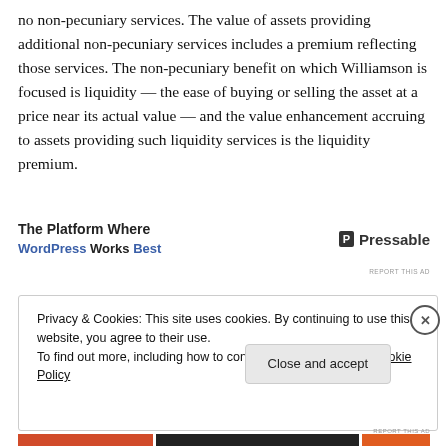no non-pecuniary services. The value of assets providing additional non-pecuniary services includes a premium reflecting those services. The non-pecuniary benefit on which Williamson is focused is liquidity — the ease of buying or selling the asset at a price near its actual value — and the value enhancement accruing to assets providing such liquidity services is the liquidity premium.
[Figure (other): Advertisement banner: 'The Platform Where WordPress Works Best' with Pressable logo]
Privacy & Cookies: This site uses cookies. By continuing to use this website, you agree to their use. To find out more, including how to control cookies, see here: Cookie Policy
Close and accept